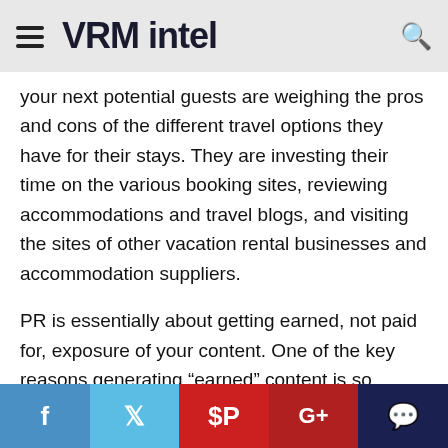VRM intel
your next potential guests are weighing the pros and cons of the different travel options they have for their stays. They are investing their time on the various booking sites, reviewing accommodations and travel blogs, and visiting the sites of other vacation rental businesses and accommodation suppliers.
PR is essentially about getting earned, not paid for, exposure of your content. One of the key reasons generating “earned” content is so powerful is because what other people or organizations say about you has far more influence on opinion and behavior change than what you say about you. Just ask Google. That’s why online coverage has such a positive impact on search rankings.
Social share buttons: Facebook, Twitter, Pinterest, Google+, Comment